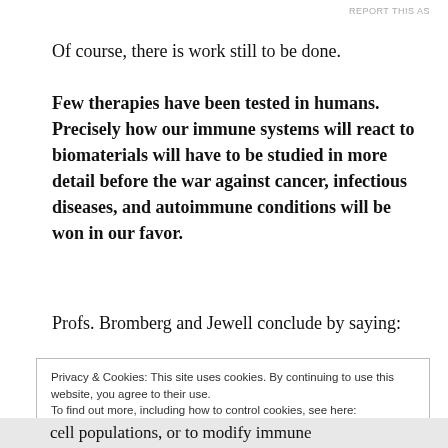REPORT THIS AS
Of course, there is work still to be done.
Few therapies have been tested in humans. Precisely how our immune systems will react to biomaterials will have to be studied in more detail before the war against cancer, infectious diseases, and autoimmune conditions will be won in our favor.
Profs. Bromberg and Jewell conclude by saying:
Privacy & Cookies: This site uses cookies. By continuing to use this website, you agree to their use.
To find out more, including how to control cookies, see here:
Our Cookie Policy

Close and accept
cell populations, or to modify immune